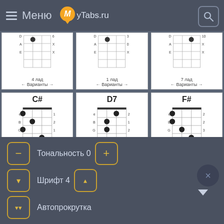Меню MyTabs.ru
[Figure (other): Partial guitar chord diagram row 1: chords at 4 лад, 1 лад, 7 лад]
[Figure (other): Guitar chord C# at 1 лад with finger positions e:1, B:2, G:1, D:3, A:4, E:X]
[Figure (other): Guitar chord D7 at 1 лад with finger positions e:2, B:1, G:2, D:0, A:X, E:X]
[Figure (other): Guitar chord F# at 2 лад with finger positions e:2, B:2, G:3, D:4, A:4, E:2]
Тональность 0
Шрифт 4
Автопрокрутка